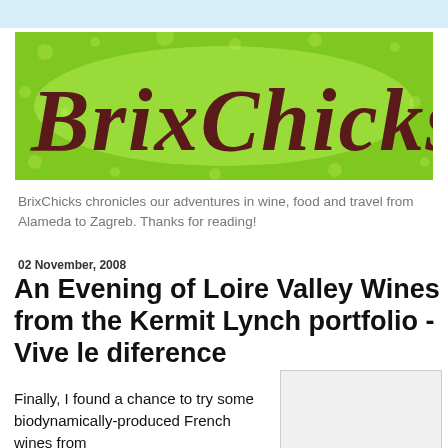[Figure (logo): BrixChicks logo with decorative dark red letter text on a bright green speckled background]
BrixChicks chronicles our adventures in wine, food and travel from Alameda to Zagreb. Thanks for reading!
02 November, 2008
An Evening of Loire Valley Wines from the Kermit Lynch portfolio - Vive le diference
Finally, I found a chance to try some biodynamically-produced French wines from
[Figure (photo): Partially visible photo placeholder]